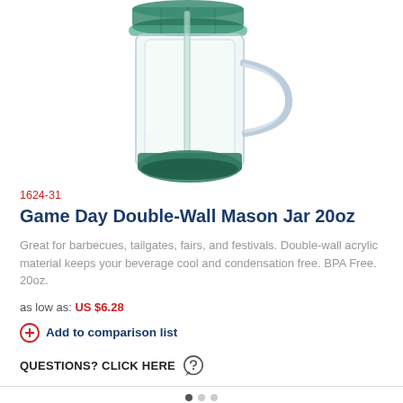[Figure (photo): A clear double-wall acrylic mason jar mug with a green tinted lid and green base, with a handle on the right side and a straw inside, photographed on a white background.]
1624-31
Game Day Double-Wall Mason Jar 20oz
Great for barbecues, tailgates, fairs, and festivals. Double-wall acrylic material keeps your beverage cool and condensation free. BPA Free. 20oz.
as low as: US $6.28
+ Add to comparison list
QUESTIONS? CLICK HERE ?